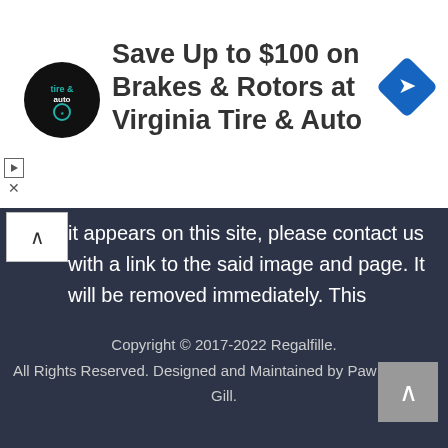[Figure (logo): Advertisement banner for Virginia Tire & Auto with circular logo, bold headline text 'Save Up to $100 on Brakes & Rotors at Virginia Tire & Auto', and a blue diamond-shaped navigation icon on the right.]
it appears on this site, please contact us with a link to the said image and page. It will be removed immediately. This website is part of the affiliation market and uses affiliated product links on some pages. It means I receive compensation from some of the companies mentioned here, at no extra cost to you. Full details can be found here.
Copyright © 2017-2022 Regalfille.
All Rights Reserved. Designed and Maintained by Pawaneet Gill.